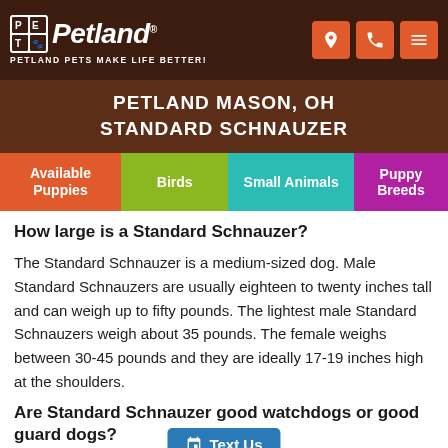Petland — PETLAND PETS MAKE LIFE BETTER!
PETLAND MASON, OH
STANDARD SCHNAUZER
Available Puppies | Birds | Small Animals | Puppy Breeds
How large is a Standard Schnauzer?
The Standard Schnauzer is a medium-sized dog. Male Standard Schnauzers are usually eighteen to twenty inches tall and can weigh up to fifty pounds. The lightest male Standard Schnauzers weigh about 35 pounds. The female weighs between 30-45 pounds and they are ideally 17-19 inches high at the shoulders.
Are Standard Schnauzer good watchdogs or good guard dogs?
Text Us | Need Help?